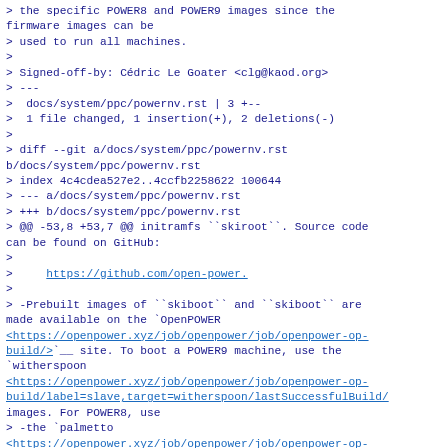> the specific POWER8 and POWER9 images since the firmware images can be
> used to run all machines.
>
> Signed-off-by: Cédric Le Goater <clg@kaod.org>
> ---
>  docs/system/ppc/powernv.rst | 3 +--
>  1 file changed, 1 insertion(+), 2 deletions(-)
>
> diff --git a/docs/system/ppc/powernv.rst b/docs/system/ppc/powernv.rst
> index 4c4cdea527e2..4ccfb2258622 100644
> --- a/docs/system/ppc/powernv.rst
> +++ b/docs/system/ppc/powernv.rst
> @@ -53,8 +53,7 @@ initramfs ``skiroot``. Source code can be found on GitHub:
>
>      https://github.com/open-power.
>
> -Prebuilt images of ``skiboot`` and ``skiboot`` are made available on the `OpenPOWER <https://openpower.xyz/job/openpower/job/openpower-op-build/>`__ site. To boot a POWER9 machine, use the `witherspoon <https://openpower.xyz/job/openpower/job/openpower-op-build/label=slave,target=witherspoon/lastSuccessfulBuild/> images. For POWER8, use
> -the `palmetto <https://openpower.xyz/job/openpower/job/openpower-op-build/label=slave,target=palmetto/lastSuccessfulBuild/>`